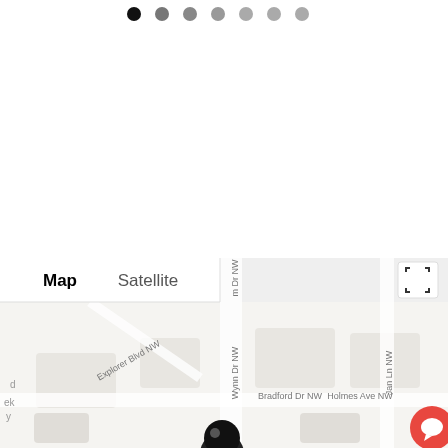[Figure (map): Google Maps view showing a neighborhood with streets labeled: Explorer Blvd NW, Wynn Dr NW, Bradford Dr NW, Holmes Ave NW, and partial street names. Map/Satellite toggle controls visible. A location pin is partially visible at bottom center. A red chat button is in the bottom right corner. Navigation dots at the top of the page indicate a carousel/slideshow.]